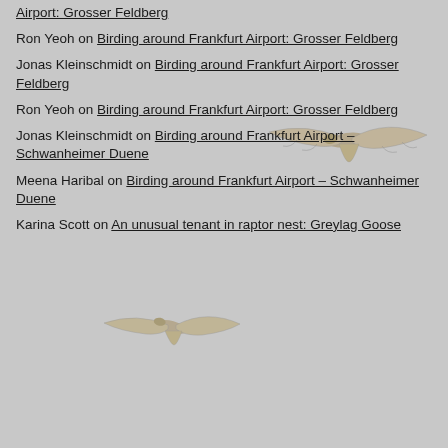Airport: Grosser Feldberg
Ron Yeoh on Birding around Frankfurt Airport: Grosser Feldberg
Jonas Kleinschmidt on Birding around Frankfurt Airport: Grosser Feldberg
Ron Yeoh on Birding around Frankfurt Airport: Grosser Feldberg
Jonas Kleinschmidt on Birding around Frankfurt Airport – Schwanheimer Duene
Meena Haribal on Birding around Frankfurt Airport – Schwanheimer Duene
Karina Scott on An unusual tenant in raptor nest: Greylag Goose
[Figure (illustration): Two birds (raptors/birds of prey) in flight, shown overlaid on the text background — one in the upper-right area and one in the lower-middle area of the page.]